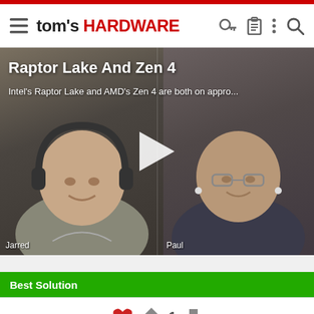tom's HARDWARE
[Figure (screenshot): Video thumbnail showing two people in a split screen. Left person named Jarred wearing headphones, right person named Paul. Play button in center. Title: Raptor Lake And Zen 4. Subtitle: Intel's Raptor Lake and AMD's Zen 4 are both on appro...]
Raptor Lake And Zen 4
Intel's Raptor Lake and AMD's Zen 4 are both on appro...
Best Solution